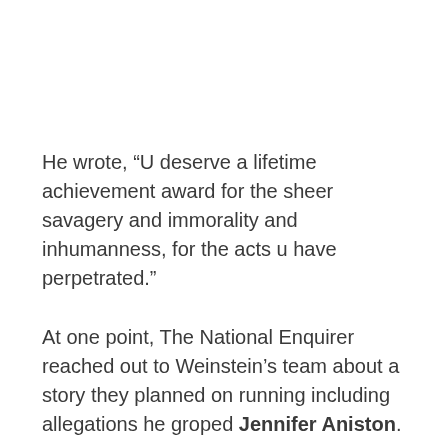He wrote, “U deserve a lifetime achievement award for the sheer savagery and immorality and inhumanness, for the acts u have perpetrated.”
At one point, The National Enquirer reached out to Weinstein’s team about a story they planned on running including allegations he groped Jennifer Aniston.